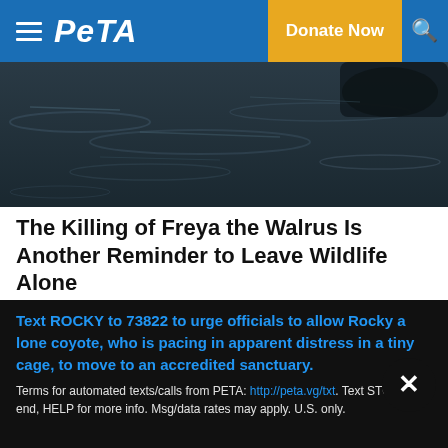PETA — Donate Now
[Figure (photo): Dark water surface with ripples, appears to be a walrus or animal partially visible at top right]
The Killing of Freya the Walrus Is Another Reminder to Leave Wildlife Alone
©BBC
GET PETA UPDATES
Text ROCKY to 73822 to urge officials to allow Rocky a lone coyote, who is pacing in apparent distress in a tiny cage, to move to an accredited sanctuary.
Terms for automated texts/calls from PETA: http://peta.vg/txt. Text STOP to end, HELP for more info. Msg/data rates may apply. U.S. only.